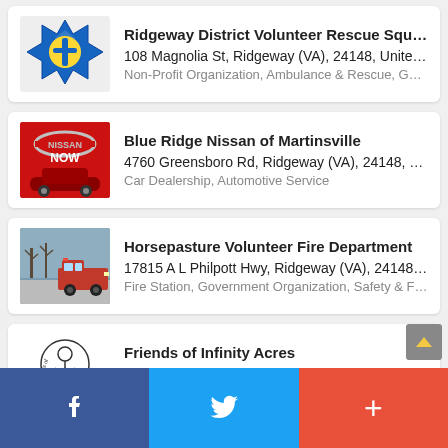Ridgeway District Volunteer Rescue Squad I...
108 Magnolia St, Ridgeway (VA), 24148, United ...
Non-Profit Organization, Ambulance & Rescue, Govern...
Blue Ridge Nissan of Martinsville
4760 Greensboro Rd, Ridgeway (VA), 24148, Un...
Car Dealership, Automotive Service
Horsepasture Volunteer Fire Department
17815 A L Philpott Hwy, Ridgeway (VA), 24148, ...
Fire Station, Government Organization, Safety & First Ai...
Friends of Infinity Acres
136 Joppa Rd, Ridgeway (VA), 24148, United Sta...
Non-Profit Organization, Educational Camp, Social Serv...